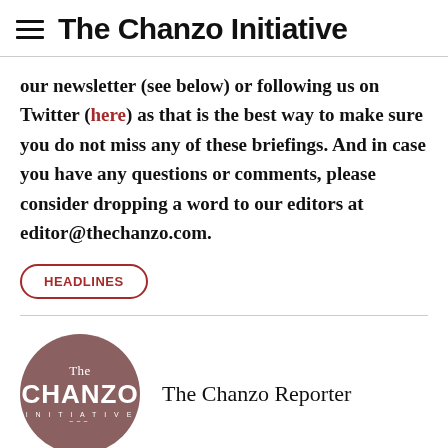The Chanzo Initiative
our newsletter (see below) or following us on Twitter (here) as that is the best way to make sure you do not miss any of these briefings. And in case you have any questions or comments, please consider dropping a word to our editors at editor@thechanzo.com.
HEADLINES
[Figure (logo): The Chanzo Initiative circular logo with text 'The CHANZO INITIATIVE' on a mauve/brownish-purple background]
The Chanzo Reporter